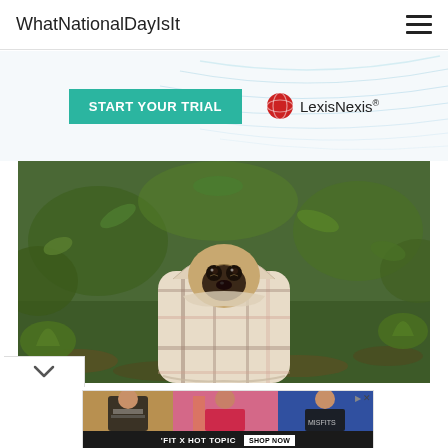WhatNationalDayIsIt
[Figure (screenshot): LexisNexis advertisement banner with teal 'START YOUR TRIAL' button and LexisNexis logo on light blue background with decorative curved lines]
[Figure (photo): A pug dog wrapped in a plaid blanket sitting in a natural outdoor setting with green plants and leaf-covered ground]
[Figure (photo): Advertisement for 'FIT X HOT TOPIC' showing three young people in alternative fashion styles with a 'SHOP NOW' button]